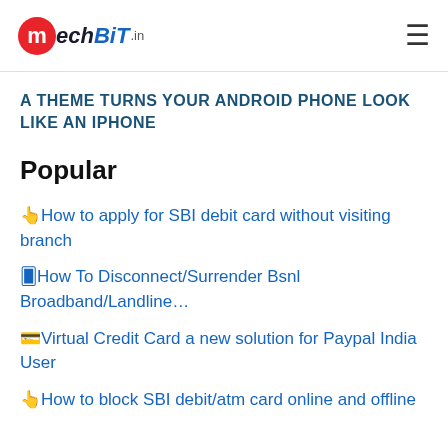mechBiT.in
A THEME TURNS YOUR ANDROID PHONE LOOK LIKE AN IPHONE
Popular
👆How to apply for SBI debit card without visiting branch
🀄How To Disconnect/Surrender Bsnl Broadband/Landline…
💳Virtual Credit Card a new solution for Paypal India User
👆How to block SBI debit/atm card online and offline